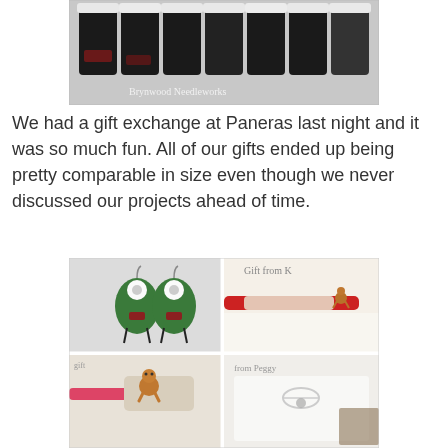[Figure (photo): Photo of decorative Christmas stockings or ornaments with lace trim on black fabric, watermarked 'Brynwood Needleworks']
We had a gift exchange at Paneras last night and it was so much fun. All of our gifts ended up being pretty comparable in size even though we never discussed our projects ahead of time.
[Figure (photo): Collage of four photos showing handmade gifts: snowman earrings, crocheted pencil/hook with gingerbread man charm, close-up of gingerbread man, and a wrapped gift with ribbon. Labels include 'Gift from K' and 'from Peggy'.]